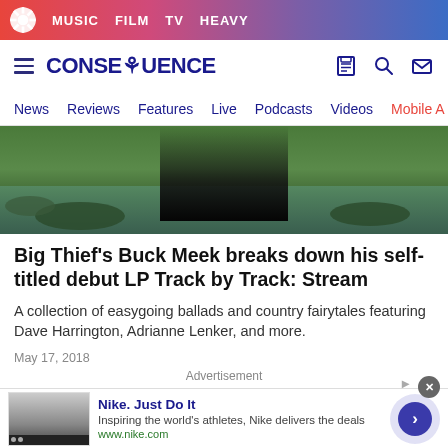MUSIC  FILM  TV  HEAVY
[Figure (logo): Consequence of Sound site logo with hamburger menu and navigation icons]
News  Reviews  Features  Live  Podcasts  Videos  Mobile A
[Figure (photo): Person wading in water, seen from behind, dark pants, rocky creek or stream environment]
Big Thief's Buck Meek breaks down his self-titled debut LP Track by Track: Stream
A collection of easygoing ballads and country fairytales featuring Dave Harrington, Adrianne Lenker, and more.
May 17, 2018
Advertisement
[Figure (screenshot): Nike advertisement: Nike. Just Do It - Inspiring the world's athletes, Nike delivers the deals. www.nike.com. With thumbnail image and arrow button.]